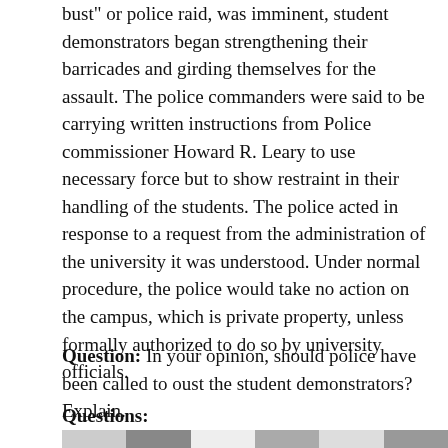bust" or police raid, was imminent, student demonstrators began strengthening their barricades and girding themselves for the assault. The police commanders were said to be carrying written instructions from Police commissioner Howard R. Leary to use necessary force but to show restraint in their handling of the students. The police acted in response to a request from the administration of the university it was understood. Under normal procedure, the police would take no action on the campus, which is private property, unless formally authorized to do so by university officials.
Question: In your opinion, should police have been called to oust the student demonstrators? Explain.
Questions:
[Figure (photo): Black and white photo strip showing student demonstrators, partially visible at the bottom of the page.]